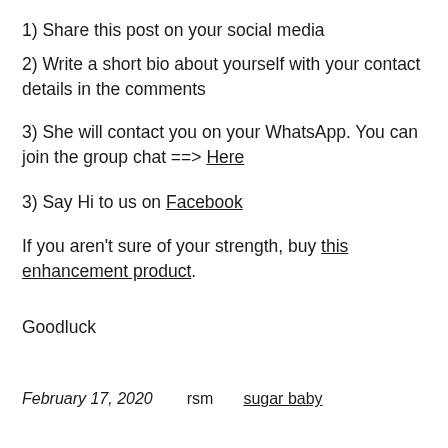1) Share this post on your social media
2) Write a short bio about yourself with your contact details in the comments
3) She will contact you on your WhatsApp. You can join the group chat ==> Here
3) Say Hi to us on Facebook
If you aren't sure of your strength, buy this enhancement product.
Goodluck
February 17, 2020    rsm    sugar baby